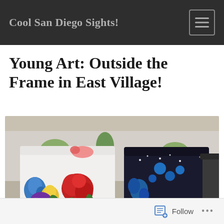Cool San Diego Sights!
Young Art: Outside the Frame in East Village!
[Figure (photo): Two painted utility boxes on a sidewalk in East Village, San Diego. The left box is white with colorful painted flowers in blue, yellow, red, and purple, and features a hummingbird. The right box is black with blue floral designs and stars on a night-sky background. The scene is outdoors with landscaping visible in the background.]
Follow